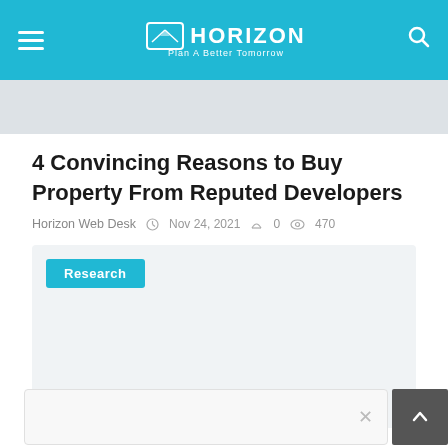HORIZON - Plan A Better Tomorrow
[Figure (photo): Gray placeholder image strip below the header]
4 Convincing Reasons to Buy Property From Reputed Developers
Horizon Web Desk  Nov 24, 2021  0  470
Research
[Figure (photo): Large gray placeholder content area with a Research button tag]
[Figure (other): Bottom notification bar with close X button and scroll-to-top dark button with up arrow]